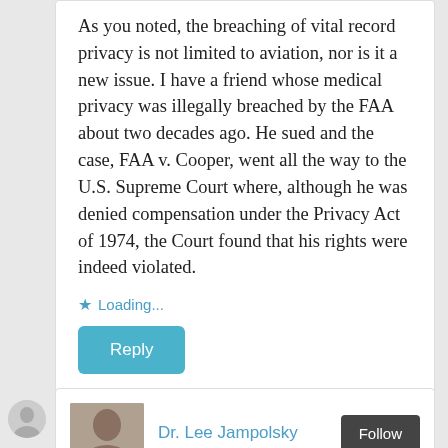As you noted, the breaching of vital record privacy is not limited to aviation, nor is it a new issue. I have a friend whose medical privacy was illegally breached by the FAA about two decades ago. He sued and the case, FAA v. Cooper, went all the way to the U.S. Supreme Court where, although he was denied compensation under the Privacy Act of 1974, the Court found that his rights were indeed violated.
Loading...
Reply
Dr. Lee Jampolsky
Follow